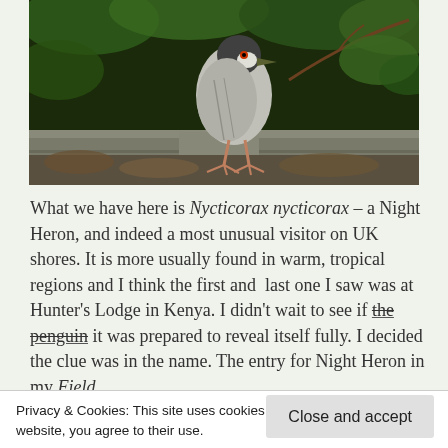[Figure (photo): A Night Heron (Nycticorax nycticorax) bird standing on a stone ledge surrounded by foliage and branches]
What we have here is Nycticorax nycticorax – a Night Heron, and indeed a most unusual visitor on UK shores. It is more usually found in warm, tropical regions and I think the first and last one I saw was at Hunter's Lodge in Kenya. I didn't wait to see if the penguin it was prepared to reveal itself fully. I decided the clue was in the name. The entry for Night Heron in my Field
Privacy & Cookies: This site uses cookies. By continuing to use this website, you agree to their use.
To find out more, including how to control cookies, see here: Cookie Policy
Close and accept